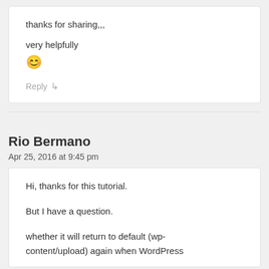thanks for sharing,,, very helpfully 😊
Reply ↳
Rio Bermano
Apr 25, 2016 at 9:45 pm
Hi, thanks for this tutorial.

But I have a question.

whether it will return to default (wp-content/upload) again when WordPress